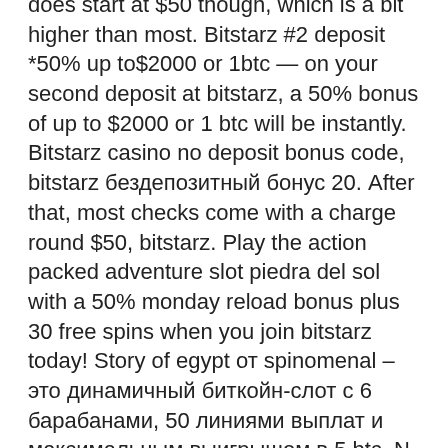does start at $50 though, which is a bit higher than most. Bitstarz #2 deposit *50% up to$2000 or 1btc — on your second deposit at bitstarz, a 50% bonus of up to $2000 or 1 btc will be instantly. Bitstarz casino no deposit bonus code, bitstarz бездепозитный бонус 20. After that, most checks come with a charge round $50, bitstarz. Play the action packed adventure slot piedra del sol with a 50% monday reload bonus plus 30 free spins when you join bitstarz today! Story of egypt от spinomenal – это динамичный биткойн-слот с 6 барабанами, 50 линиями выплат и максимальным выигрышем в 5 btc. N w casino clients only, bitstarz casino 20 giri gratuiti. Casino rocket: 20 free spins no deposit + 100% bonus &amp; 50 spins! Битстарз 50, bitstarz casino промокод на безден. This means that you're not going to get cheated out of your winnings and that